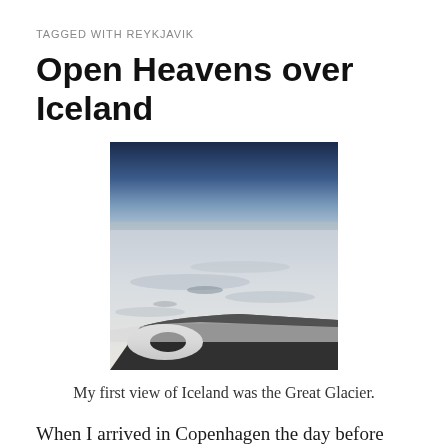TAGGED WITH REYKJAVIK
Open Heavens over Iceland
[Figure (photo): Aerial view from airplane window showing the Great Glacier of Iceland, with a vast white/grey snow and ice landscape below, a deep blue sky above at the horizon, and the aircraft engine visible in the lower foreground.]
My first view of Iceland was the Great Glacier.
When I arrived in Copenhagen the day before flying to the Faroe Islands, there was bright sun right over the airport and a huge bank of clouds all around (as noted in Open